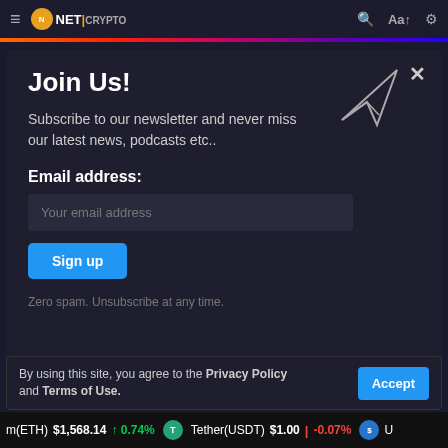NET | navigation bar with logo, search, font, and settings icons
Join Us!
Subscribe to our newsletter and never miss our latest news, podcasts etc..
Email address:
Your email address
Sign up
Zero spam. Unsubscribe at any time.
By using this site, you agree to the Privacy Policy and Terms of Use.
m(ETH) $1,568.14 ↑ 0.74% Tether(USDT) $1.00 ↓ -0.07% U